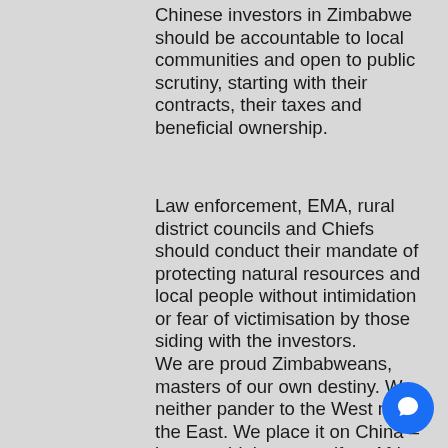Chinese investors in Zimbabwe should be accountable to local communities and open to public scrutiny, starting with their contracts, their taxes and beneficial ownership.
Law enforcement, EMA, rural district councils and Chiefs should conduct their mandate of protecting natural resources and local people without intimidation or fear of victimisation by those siding with the investors.
We are proud Zimbabweans, masters of our own destiny. We neither pander to the West nor the East. We place it on China – how would they react if an African